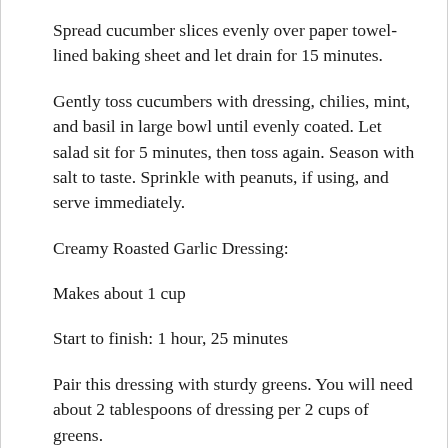Spread cucumber slices evenly over paper towel-lined baking sheet and let drain for 15 minutes.
Gently toss cucumbers with dressing, chilies, mint, and basil in large bowl until evenly coated. Let salad sit for 5 minutes, then toss again. Season with salt to taste. Sprinkle with peanuts, if using, and serve immediately.
Creamy Roasted Garlic Dressing:
Makes about 1 cup
Start to finish: 1 hour, 25 minutes
Pair this dressing with sturdy greens. You will need about 2 tablespoons of dressing per 2 cups of greens.